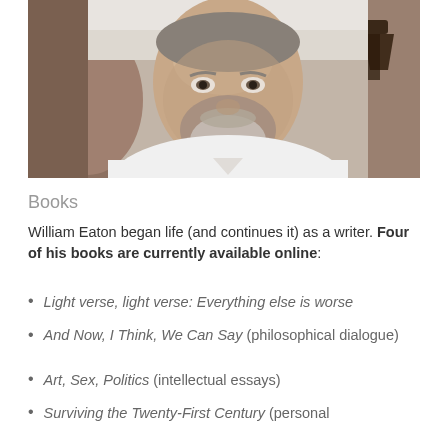[Figure (photo): Portrait photo of an older man with grey stubble beard, wearing a white t-shirt, photographed outdoors with an arch/structure visible in the background]
Books
William Eaton began life (and continues it) as a writer. Four of his books are currently available online:
Light verse, light verse: Everything else is worse
And Now, I Think, We Can Say (philosophical dialogue)
Art, Sex, Politics (intellectual essays)
Surviving the Twenty-First Century (personal